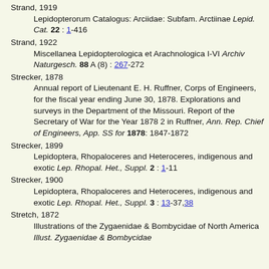Strand, 1919
  Lepidopterorum Catalogus: Arciidae: Subfam. Arctiinae Lepid. Cat. 22 : 1-416
Strand, 1922
  Miscellanea Lepidopterologica et Arachnologica I-VI Archiv Naturgesch. 88 A (8) : 267-272
Strecker, 1878
  Annual report of Lieutenant E. H. Ruffner, Corps of Engineers, for the fiscal year ending June 30, 1878. Explorations and surveys in the Department of the Missouri. Report of the Secretary of War for the Year 1878 2 in Ruffner, Ann. Rep. Chief of Engineers, App. SS for 1878: 1847-1872
Strecker, 1899
  Lepidoptera, Rhopaloceres and Heteroceres, indigenous and exotic Lep. Rhopal. Het., Suppl. 2 : 1-11
Strecker, 1900
  Lepidoptera, Rhopaloceres and Heteroceres, indigenous and exotic Lep. Rhopal. Het., Suppl. 3 : 13-37,38
Stretch, 1872
  Illustrations of the Zygaenidae & Bombycidae of North America Illust. Zygaenidae & Bombycidae